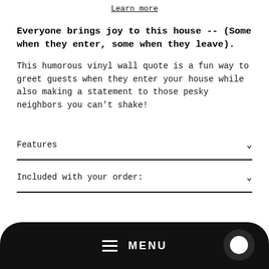Learn more
Everyone brings joy to this house -- (Some when they enter, some when they leave).
This humorous vinyl wall quote is a fun way to greet guests when they enter your house while also making a statement to those pesky neighbors you can't shake!
Features
Included with your order:
[Figure (screenshot): Black rounded navigation bar at bottom with hamburger menu icon, MENU text, and white chat bubble icon on right]